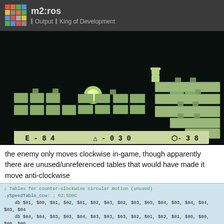m2:ros — Output | King of Development
[Figure (screenshot): Game Boy screenshot showing a level from a game. Green-tinted pixel art of a level with a character, enemies on platforms, and a glowing orb. HUD at bottom shows: E-84, a figure icon -030, a tank icon -38.]
the enemy only moves clockwise in-game, though apparently there are unused/unreferenced tables that would have made it move anti-clockwise
; Tables for counter-clockwise circular motion (unused)
.ySpeedTable_ccw: ; 02:5D0C
    db $01, $00, $01, $02, $01, $02, $03, $02, $03, $03, $04, $03, $04, $04, $03, $04
    db $04, $04, $03, $03, $04, $03, $03, $03, $02, $01, $02, $01, $00, $00, $00, $00
    db $FF, $FE, $FF, $FE, $FD, $FE, $FD, $FC, $FD, $FD, $FC, $FC, $FC, $FD, $FC, $FC
    db $FD, $FC, $FD, $FD, $FF, $FD, $FD, $FF, $FF, $00, $FF, $80